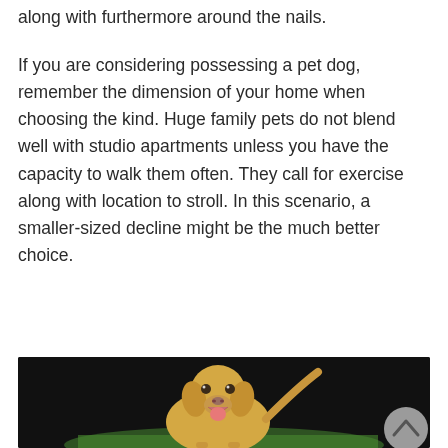along with furthermore around the nails.
If you are considering possessing a pet dog, remember the dimension of your home when choosing the kind. Huge family pets do not blend well with studio apartments unless you have the capacity to walk them often. They call for exercise along with location to stroll. In this scenario, a smaller-sized decline might be the much better choice.
[Figure (photo): A golden Labrador puppy standing on grass against a dark background, mouth open and tongue out, tail raised.]